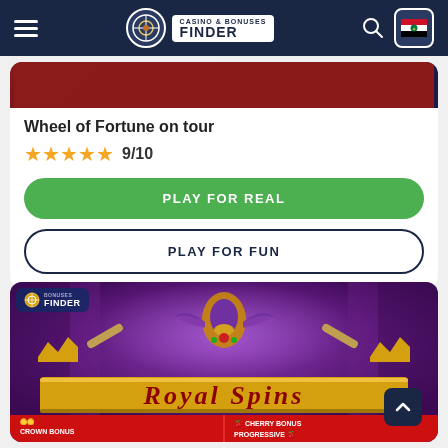Casino & Bonuses Finder
[Figure (screenshot): Dark themed game preview strip]
Wheel of Fortune on tour
★★★★★ 9/10
PLAY FOR REAL
PLAY FOR FUN
[Figure (screenshot): Royal Spins slot game screenshot with purple throne room background, golden jewel emblem, Royal Spins golden banner, Crown Bonus and Cherry Bonus Progressive labels at bottom]